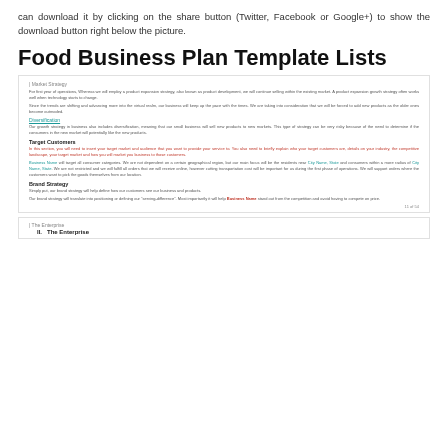can download it by clicking on the share button (Twitter, Facebook or Google+) to show the download button right below the picture.
Food Business Plan Template Lists
[Figure (screenshot): Screenshot of a food business plan template document showing sections: Market Strategy, Diversification, Target Customers, Brand Strategy with placeholder text and teal/red colored headings and links. Page number 11 of 54 visible.]
[Figure (screenshot): Screenshot of a second document page showing 'The Enterprise' header label and section heading 'II. The Enterprise']